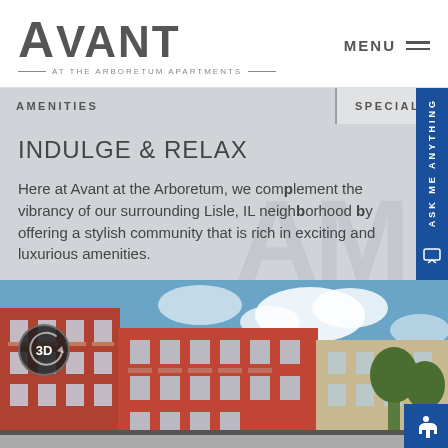AVANT AT THE ARBORETUM APARTMENTS — MENU
AMENITIES
SPECIALS
INDULGE & RELAX
Here at Avant at the Arboretum, we complement the vibrancy of our surrounding Lisle, IL neighborhood by offering a stylish community that is rich in exciting and luxurious amenities.
APPLY NOW
[Figure (photo): Exterior photograph of Avant at the Arboretum apartment building, red brick multi-story modern apartment complex with balconies, blue sky with clouds, green trees on right. A 3D tour button overlay is visible in the bottom-left.]